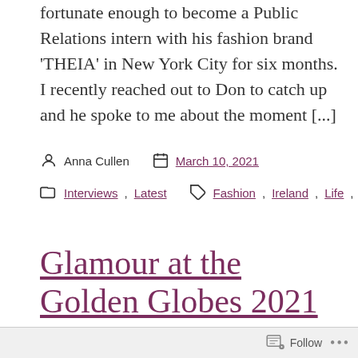fortunate enough to become a Public Relations intern with his fashion brand 'THEIA' in New York City for six months. I recently reached out to Don to catch up and he spoke to me about the moment [...]
Anna Cullen   March 10, 2021
Interviews, Latest   Fashion, Ireland, Life, New York
Glamour at the Golden Globes 2021
Follow ...